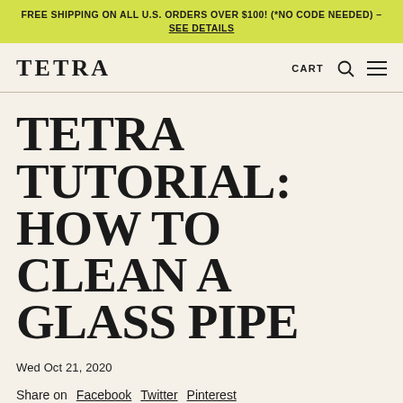FREE SHIPPING ON ALL U.S. ORDERS OVER $100! (*NO CODE NEEDED) – SEE DETAILS
TETRA   CART
TETRA TUTORIAL: HOW TO CLEAN A GLASS PIPE
Wed Oct 21, 2020
Share on  Facebook  Twitter  Pinterest